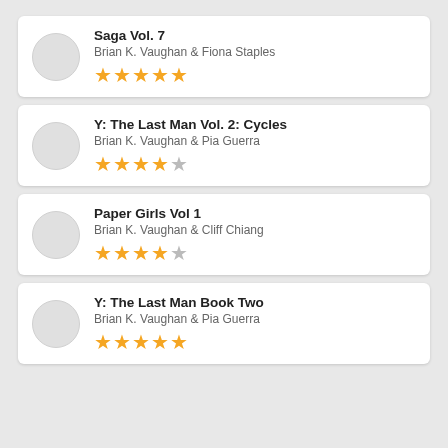Saga Vol. 7 — Brian K. Vaughan & Fiona Staples — 5 stars
Y: The Last Man Vol. 2: Cycles — Brian K. Vaughan & Pia Guerra — 4.5 stars
Paper Girls Vol 1 — Brian K. Vaughan & Cliff Chiang — 4.5 stars
Y: The Last Man Book Two — Brian K. Vaughan & Pia Guerra — 5 stars